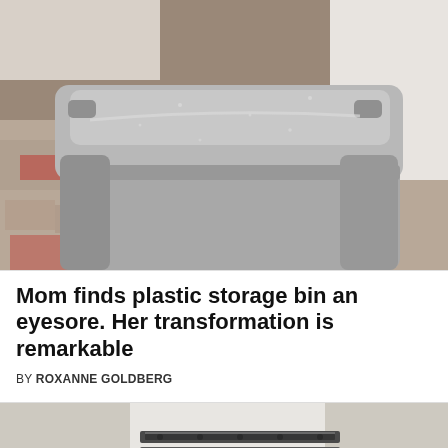[Figure (photo): A gray plastic storage bin with lid sitting on a tiled floor, viewed from slightly above. The bin appears dusty and is photographed in what looks like a kitchen or utility area.]
Mom finds plastic storage bin an eyesore. Her transformation is remarkable
BY ROXANNE GOLDBERG
[Figure (photo): Partial view of drawer slides/rails mounted on a white surface, bottom portion of a DIY project.]
© DIY Everywhere   About Ads   Terms   Privacy   Do Not Sell My Info